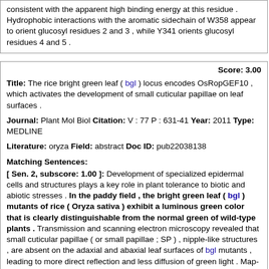consistent with the apparent high binding energy at this residue . Hydrophobic interactions with the aromatic sidechain of W358 appear to orient glucosyl residues 2 and 3 , while Y341 orients glucosyl residues 4 and 5 .
Score: 3.00
Title: The rice bright green leaf ( bgl ) locus encodes OsRopGEF10 , which activates the development of small cuticular papillae on leaf surfaces .
Journal: Plant Mol Biol Citation: V : 77 P : 631-41 Year: 2011 Type: MEDLINE
Literature: oryza Field: abstract Doc ID: pub22038138
Matching Sentences:
[ Sen. 2, subscore: 1.00 ]: Development of specialized epidermal cells and structures plays a key role in plant tolerance to biotic and abiotic stresses . In the paddy field , the bright green leaf ( bgl ) mutants of rice ( Oryza sativa ) exhibit a luminous green color that is clearly distinguishable from the normal green of wild-type plants . Transmission and scanning electron microscopy revealed that small cuticular papillae ( or small papillae ; SP ) , nipple-like structures , are absent on the adaxial and abaxial leaf surfaces of bgl mutants , leading to more direct reflection and less diffusion of green light . Map-based cloning revealed that the bgl locus encodes OsRopGEF10 , one of eleven OsRopGEFs in rice . RopGEFs ( guanine nucleotide exchange factors for Rop ) activate Rop/Rac GTPases , acting as molecular switches in eukaryotic signal transduction by replacing the bound GDP ( inactive form ) with GTP ( active form ) in response to external or internal cues . In agreement with the timing of SP initiation on the leaf epidermis , OsRopGEF10 is most strongly expressed in newly developing leaves